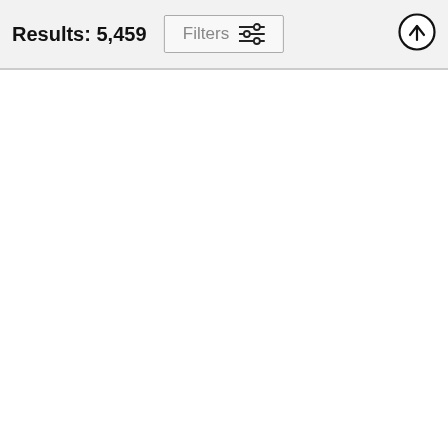Results: 5,459
[Figure (screenshot): Filters button with sliders icon]
[Figure (other): Upload/scroll-to-top circle button with upward arrow]